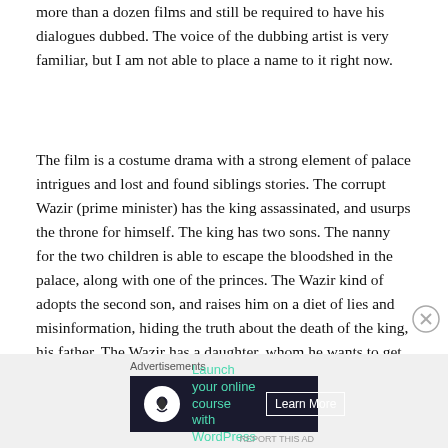more than a dozen films and still be required to have his dialogues dubbed. The voice of the dubbing artist is very familiar, but I am not able to place a name to it right now.
The film is a costume drama with a strong element of palace intrigues and lost and found siblings stories. The corrupt Wazir (prime minister) has the king assassinated, and usurps the throne for himself. The king has two sons. The nanny for the two children is able to escape the bloodshed in the palace, along with one of the princes. The Wazir kind of adopts the second son, and raises him on a diet of lies and misinformation, hiding the truth about the death of the king, his father. The Wazir has a daughter, whom he wants to get married to the prince-in-custody.
Advertisements
[Figure (other): Advertisement banner: 'Launch your online course with WordPress' with a Learn More button on a dark background]